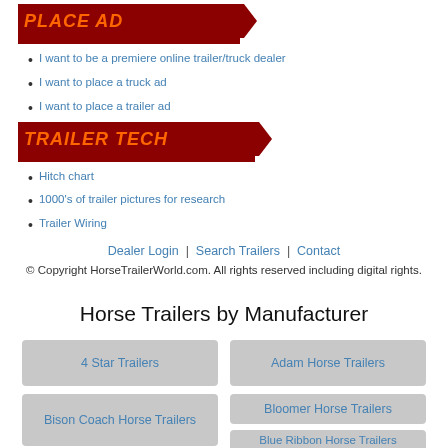PLACE AD
I want to be a premiere online trailer/truck dealer
I want to place a truck ad
I want to place a trailer ad
TRAILER TECH
Hitch chart
1000's of trailer pictures for research
Trailer Wiring
Dealer Login | Search Trailers | Contact
© Copyright HorseTrailerWorld.com. All rights reserved including digital rights.
Horse Trailers by Manufacturer
4 Star Trailers
Adam Horse Trailers
Bison Coach Horse Trailers
Bloomer Horse Trailers
Blue Ribbon Horse Trailers